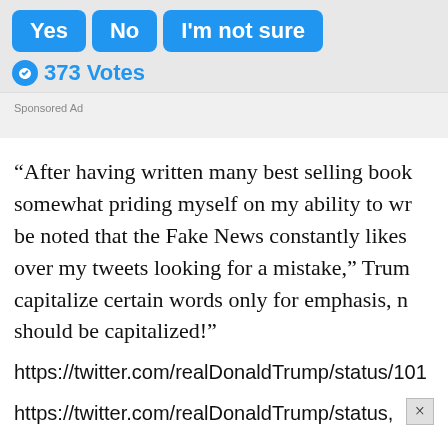[Figure (screenshot): Poll buttons: Yes, No, I'm not sure in blue rounded rectangles]
373 Votes
Sponsored Ad
“After having written many best selling books, somewhat priding myself on my ability to wr... be noted that the Fake News constantly likes over my tweets looking for a mistake,” Trum... capitalize certain words only for emphasis, n... should be capitalized!”
https://twitter.com/realDonaldTrump/status/101
https://twitter.com/realDonaldTrump/status,